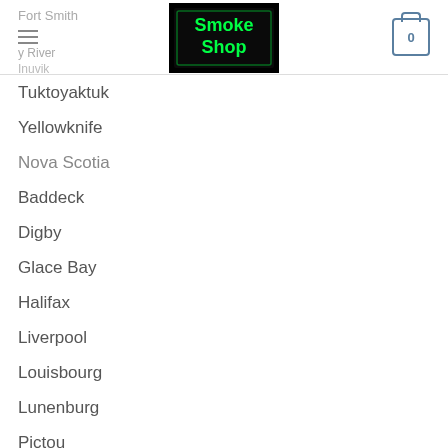Fort Smith | Smoke Shop | Cart 0
Tuktoyaktuk
Yellowknife
Nova Scotia
Baddeck
Digby
Glace Bay
Halifax
Liverpool
Louisbourg
Lunenburg
Pictou
Port Hawkesbury
Springhill
Sydney
Yarmouth